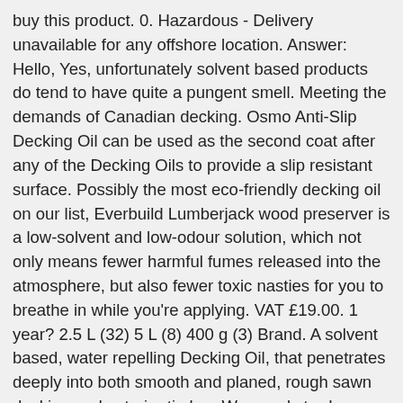buy this product. 0. Hazardous - Delivery unavailable for any offshore location. Answer: Hello, Yes, unfortunately solvent based products do tend to have quite a pungent smell. Meeting the demands of Canadian decking. Osmo Anti-Slip Decking Oil can be used as the second coat after any of the Decking Oils to provide a slip resistant surface. Possibly the most eco-friendly decking oil on our list, Everbuild Lumberjack wood preserver is a low-solvent and low-odour solution, which not only means fewer harmful fumes released into the atmosphere, but also fewer toxic nasties for you to breathe in while you're applying. VAT £19.00. 1 year? 2.5 L (32) 5 L (8) 400 g (3) Brand. A solvent based, water repelling Decking Oil, that penetrates deeply into both smooth and planed, rough sawn decking and exterior timber. We supply trade quality DIY and home improvement products at great low prices. Liberon Decking Oil is ideal for feeding, protecting and enhancing the natural beauty of most types of timber decking. Preparation. Water-repellent, extremely weather and UV resistant. This decking stain will protect and keep your deck in excellent shape. It's water repellent, mould resistant and incorporates advanced UV